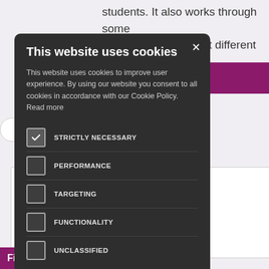students. It also works through some ideas that will support different exam
[Figure (screenshot): Cookie consent modal dialog on a dark background (#2e2e2e) overlaying an educational website. The modal contains a title 'This website uses cookies', body text about cookie policy, checkboxes for STRICTLY NECESSARY (checked), PERFORMANCE, TARGETING, FUNCTIONALITY, UNCLASSIFIED, an ACCEPT ALL green button, a DECLINE ALL outlined button, and a SHOW DETAILS link with gear icon. Background shows purple bar and filter bar.]
This website uses cookies
This website uses cookies to improve user experience. By using our website you consent to all cookies in accordance with our Cookie Policy. Read more
STRICTLY NECESSARY
PERFORMANCE
TARGETING
FUNCTIONALITY
UNCLASSIFIED
ACCEPT ALL
DECLINE ALL
SHOW DETAILS
Filter by